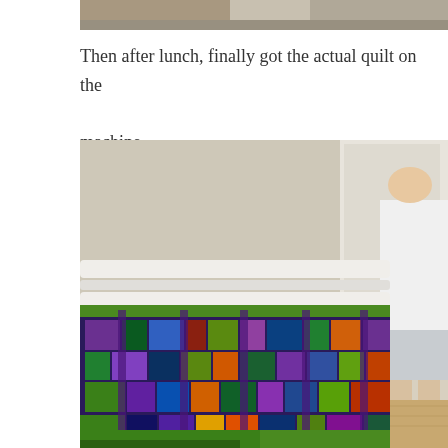[Figure (photo): Top portion of a photo, cropped — shows the upper section of what appears to be a quilting setup or machine, partially visible.]
Then after lunch, finally got the actual quilt on the machine…
[Figure (photo): A person in a white shirt and grey shorts standing next to a long-arm quilting machine frame. A colorful quilt with green, purple, blue, orange, and black patchwork pattern is loaded on the frame, draping down toward the floor.]